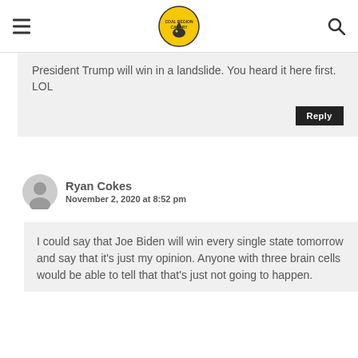Coal Region Canary
President Trump will win in a landslide. You heard it here first. LOL
Ryan Cokes
November 2, 2020 at 8:52 pm
I could say that Joe Biden will win every single state tomorrow and say that it's just my opinion. Anyone with three brain cells would be able to tell that that's just not going to happen.